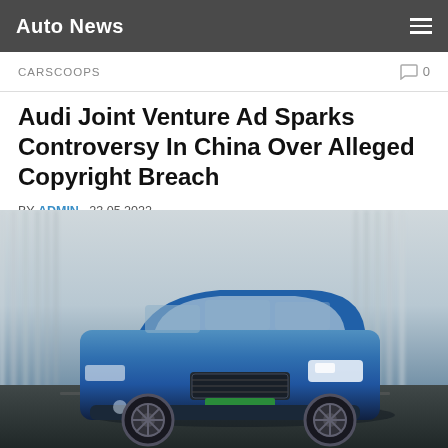Auto News
CARSCOOPS
Audi Joint Venture Ad Sparks Controversy In China Over Alleged Copyright Breach
BY ADMIN · 23.05.2022
[Figure (photo): Blue Audi e-tron electric SUV driving on a bridge/tunnel road with motion blur background. Chinese green license plate reading A DA8965.]